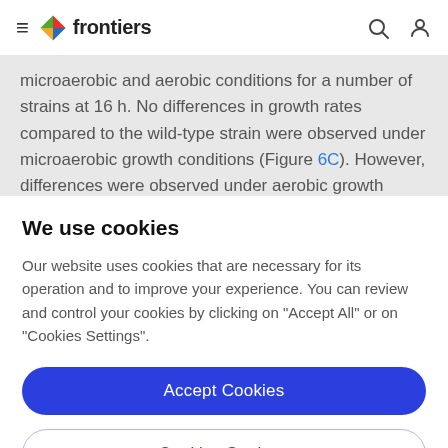frontiers
microaerobic and aerobic conditions for a number of strains at 16 h. No differences in growth rates compared to the wild-type strain were observed under microaerobic growth conditions (Figure 6C). However, differences were observed under aerobic growth
We use cookies
Our website uses cookies that are necessary for its operation and to improve your experience. You can review and control your cookies by clicking on "Accept All" or on "Cookies Settings".
Accept Cookies
Cookies Settings